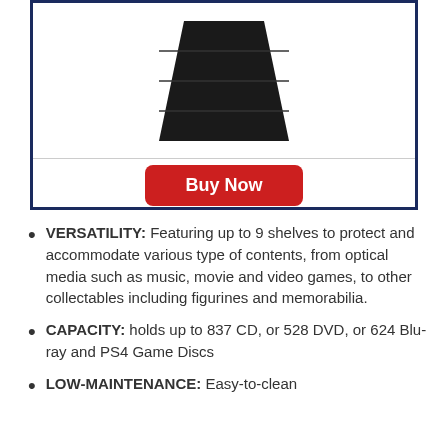[Figure (photo): Black shelf/cabinet product image shown partially at top of product box]
Buy Now
VERSATILITY: Featuring up to 9 shelves to protect and accommodate various type of contents, from optical media such as music, movie and video games, to other collectables including figurines and memorabilia.
CAPACITY: holds up to 837 CD, or 528 DVD, or 624 Blu-ray and PS4 Game Discs
LOW-MAINTENANCE: Easy-to-clean